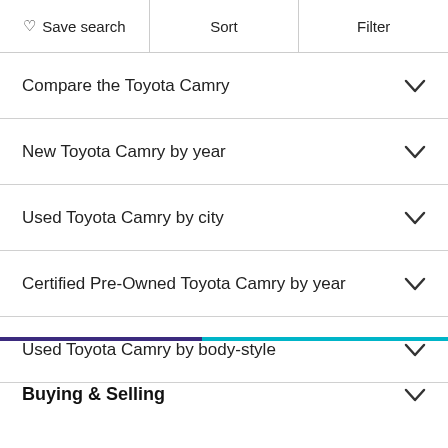♡ Save search | Sort | Filter
Compare the Toyota Camry
New Toyota Camry by year
Used Toyota Camry by city
Certified Pre-Owned Toyota Camry by year
Used Toyota Camry by body-style
Buying & Selling